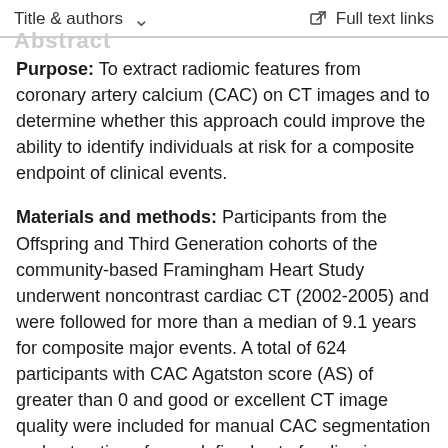Title & authors  ∨    Full text links
Abstract
Purpose: To extract radiomic features from coronary artery calcium (CAC) on CT images and to determine whether this approach could improve the ability to identify individuals at risk for a composite endpoint of clinical events.
Materials and methods: Participants from the Offspring and Third Generation cohorts of the community-based Framingham Heart Study underwent noncontrast cardiac CT (2002-2005) and were followed for more than a median of 9.1 years for composite major events. A total of 624 participants with CAC Agatston score (AS) of greater than 0 and good or excellent CT image quality were included for manual CAC segmentation and extraction of a predefined set of radiomic features reflecting intensity, shape, and texture. In a discovery cohort (n = 318), machine learning was used to select the 20 most